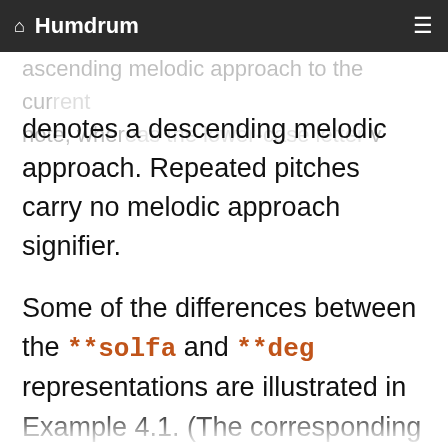Humdrum
ascending melodic approach to the current note, whereas the lower-case letter v
denotes a descending melodic approach. Repeated pitches carry no melodic approach signifier.
Some of the differences between the **solfa and **deg representations are illustrated in Example 4.1. (The corresponding **kern representation is given in the first spine.) Notice that **solfa does not encode any octave information. The **deg representation does not encode the octave of the starting pitch, but it does indicate contour information via the contour f